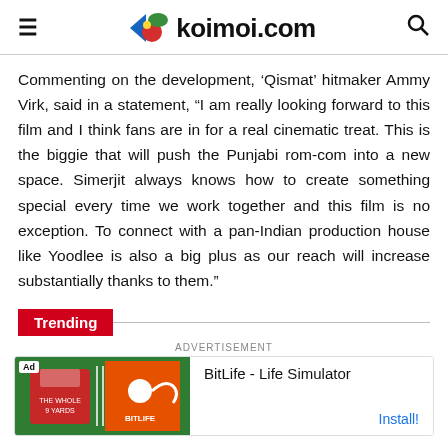koimoi.com
Commenting on the development, ‘Qismat’ hitmaker Ammy Virk, said in a statement, “I am really looking forward to this film and I think fans are in for a real cinematic treat. This is the biggie that will push the Punjabi rom-com into a new space. Simerjit always knows how to create something special every time we work together and this film is no exception. To connect with a pan-Indian production house like Yoodlee is also a big plus as our reach will increase substantially thanks to them.”
Trending
[Figure (other): Advertisement banner for BitLife - Life Simulator app with green background showing a jersey graphic and sperm graphic on orange background. Install button visible.]